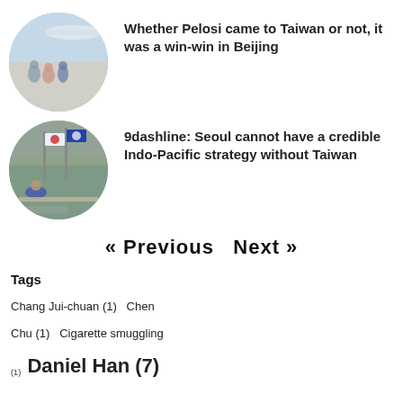[Figure (photo): Circular thumbnail photo of Nancy Pelosi and others on airport tarmac with airplane in background]
Whether Pelosi came to Taiwan or not, it was a win-win in Beijing
[Figure (photo): Circular thumbnail photo of Korean leader with South Korean and NATO flags, seated at a table]
9dashline: Seoul cannot have a credible Indo-Pacific strategy without Taiwan
« Previous   Next »
Tags
Chang Jui-chuan (1)   Chen
Chu (1)   Cigarette smuggling
(1)   Daniel Han (7)